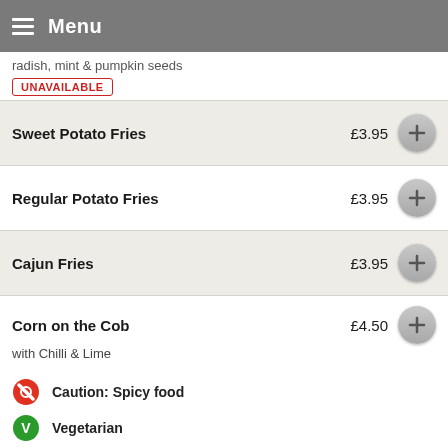Menu
radish, mint & pumpkin seeds
UNAVAILABLE
Sweet Potato Fries £3.95
Regular Potato Fries £3.95
Cajun Fries £3.95
Corn on the Cob with Chilli & Lime £4.50 UNAVAILABLE
Mac 'n' Cheese £4.50
Caution: Spicy food
Vegetarian